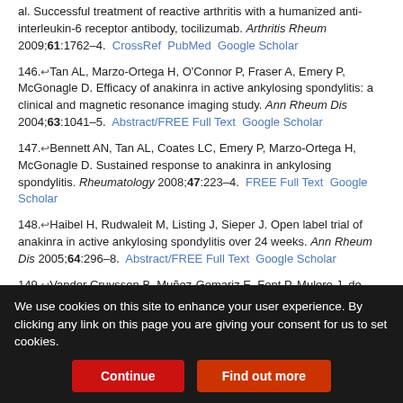al. Successful treatment of reactive arthritis with a humanized anti-interleukin-6 receptor antibody, tocilizumab. Arthritis Rheum 2009;61:1762–4. CrossRef PubMed Google Scholar
146. Tan AL, Marzo-Ortega H, O'Connor P, Fraser A, Emery P, McGonagle D. Efficacy of anakinra in active ankylosing spondylitis: a clinical and magnetic resonance imaging study. Ann Rheum Dis 2004;63:1041–5. Abstract/FREE Full Text Google Scholar
147. Bennett AN, Tan AL, Coates LC, Emery P, Marzo-Ortega H, McGonagle D. Sustained response to anakinra in ankylosing spondylitis. Rheumatology 2008;47:223–4. FREE Full Text Google Scholar
148. Haibel H, Rudwaleit M, Listing J, Sieper J. Open label trial of anakinra in active ankylosing spondylitis over 24 weeks. Ann Rheum Dis 2005;64:296–8. Abstract/FREE Full Text Google Scholar
149. Vander Cruyssen B, Muñoz-Gomariz E, Font P, Mulero J, de Vlam...
We use cookies on this site to enhance your user experience. By clicking any link on this page you are giving your consent for us to set cookies.